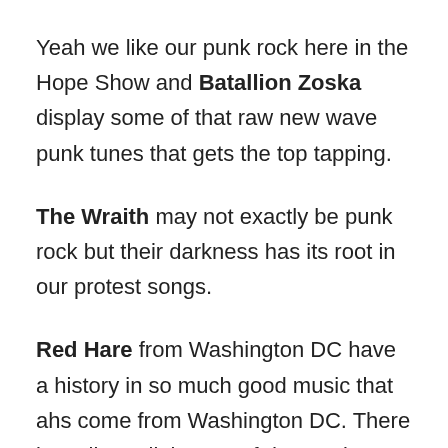Yeah we like our punk rock here in the Hope Show and Batallion Zoska display some of that raw new wave punk tunes that gets the top tapping.
The Wraith may not exactly be punk rock but their darkness has its root in our protest songs.
Red Hare from Washington DC have a history in so much good music that ahs come from Washington DC. There last album, little acts of destruction has some of that classisc building emo tinged punk